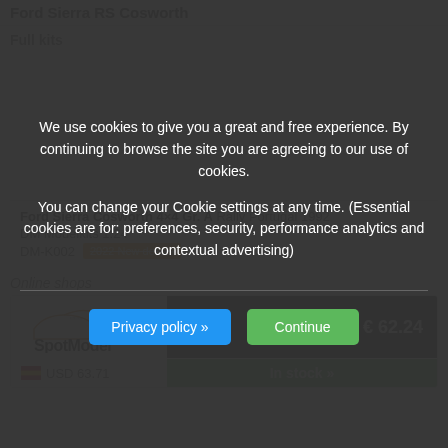Ford Sierra RS Cosworth
Full kits
[Figure (photo): Product image area for Ford Sierra Cosworth 4x4 Gr. A model kit (image not loaded, gray placeholder)]
Ford Sierra Cosworth 4×4 Gr. A  Rally Portugal 1992
DM Modelkits 1:24
DM-K002  2022 New decals
Online shops
[Figure (logo): SpotModel.com logo]
€ 62.24
USD 63.71
In stock »
We use cookies to give you a great and free experience. By continuing to browse the site you are agreeing to our use of cookies.

You can change your Cookie settings at any time. (Essential cookies are for: preferences, security, performance analytics and contextual advertising)
Privacy policy »
Continue